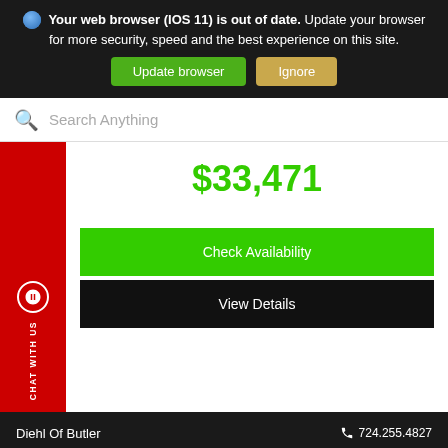[Figure (screenshot): Browser out-of-date warning banner with globe icon, bold warning text, Update browser (green) and Ignore (tan) buttons]
Search Anything
$33,471
Check Availability
View Details
CHAT WITH US
Diehl Of Butler   724.255.4827
DIEHLIAUTO.COM
Filter 550 Results ∧